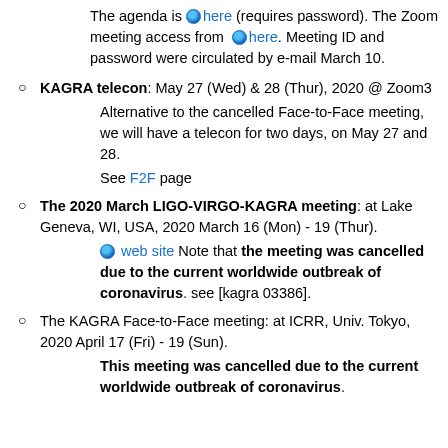The agenda is here (requires password). The Zoom meeting access from here. Meeting ID and password were circulated by e-mail March 10.
KAGRA telecon: May 27 (Wed) & 28 (Thur), 2020 @ Zoom3
Alternative to the cancelled Face-to-Face meeting, we will have a telecon for two days, on May 27 and 28.
See F2F page
The 2020 March LIGO-VIRGO-KAGRA meeting: at Lake Geneva, WI, USA, 2020 March 16 (Mon) - 19 (Thur).
web site Note that the meeting was cancelled due to the current worldwide outbreak of coronavirus. see [kagra 03386].
The KAGRA Face-to-Face meeting: at ICRR, Univ. Tokyo, 2020 April 17 (Fri) - 19 (Sun).
This meeting was cancelled due to the current worldwide outbreak of coronavirus.